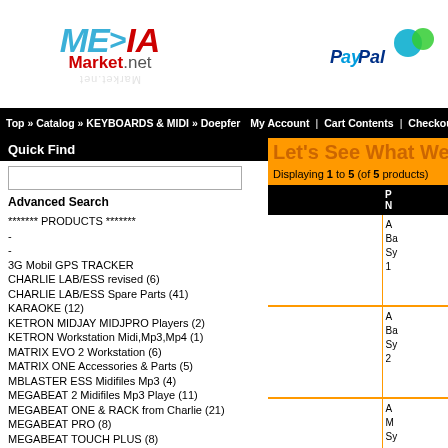[Figure (logo): ME>IA Market.net logo with stylized text and watermark shadow]
[Figure (logo): PayPal logo with blue text and colorful icon]
Top » Catalog » KEYBOARDS & MIDI » Doepfer   My Account  |  Cart Contents  |  Checkout
Quick Find
Advanced Search
******* PRODUCTS *******
-
-
3G Mobil GPS TRACKER
CHARLIE LAB/ESS revised (6)
CHARLIE LAB/ESS Spare Parts (41)
KARAOKE (12)
KETRON MIDJAY MIDJPRO Players (2)
KETRON Workstation Midi,Mp3,Mp4 (1)
MATRIX EVO 2 Workstation (6)
MATRIX ONE Accessories & Parts (5)
MBLASTER ESS Midifiles Mp3 (4)
MEGABEAT 2 Midifiles Mp3 Playe (11)
MEGABEAT ONE & RACK from Charlie (21)
MEGABEAT PRO (8)
MEGABEAT TOUCH PLUS (8)
MEGABEAT TOUCH Spare parts (5)
MEGALITE Spare Parts (9)
MEGAPLAY Spare Parts (9)
MERISH 5 & 5+ M-Live Midi,Mp3,Ka (2)
Midifiles & Mp3 Players (8)
OKYWEB4 M-Live Midi,Mp3,Karaoké (2)
4G Mobil GPS TRACKER News 2021 (1)
GPS TRACKER (19)
GPS TRACKER (Accessories only) (9)
GPS TRACKER (mini) (3)
GPS Tracker + ALARM (1)
GPS Traker: Coban,TkStar,Bartun (24)
Tracker GPS (micro) mobil (1)
Let's See What We H
Displaying 1 to 5 (of 5 products)
| Product Name | P N |
| --- | --- |
|  | A
Ba
Sy
1 |
|  | A
Ba
Sy
2 |
|  | A
M
Sy |